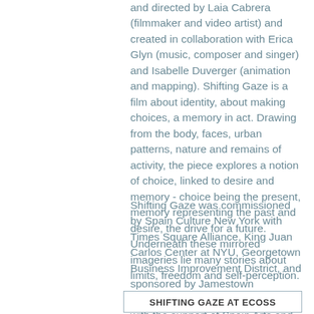and directed by Laia Cabrera (filmmaker and video artist) and created in collaboration with Erica Glyn (music, composer and singer) and Isabelle Duverger (animation and mapping). Shifting Gaze is a film about identity, about making choices, a memory in act. Drawing from the body, faces, urban patterns, nature and remains of activity, the piece explores a notion of choice, linked to desire and memory - choice being the present, memory representing the past and desire, the drive for a future. Underneath these mirrored imageries lie many stories about limits, freedom and self-perception.
Shifting Gaze was commissioned by Spain Culture New York with Times Square Alliance, King Juan Carlos Center at NYU, Georgetown Business Improvement District, and sponsored by Jamestown Properties and Georgetown Park with the support of Spain Arts and Culture.
SHIFTING GAZE AT ECOSS